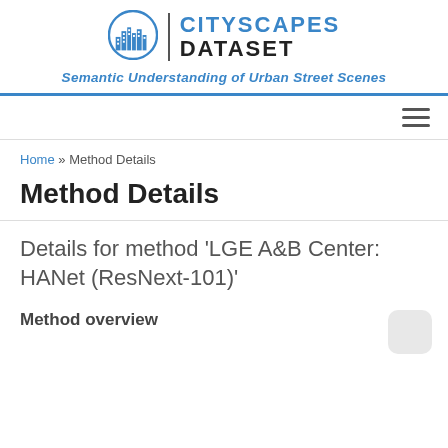CITYSCAPES DATASET — Semantic Understanding of Urban Street Scenes
Home » Method Details
Method Details
Details for method 'LGE A&B Center: HANet (ResNext-101)'
Method overview